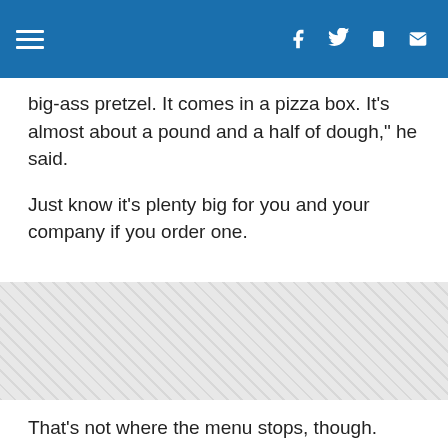13NewsNow
big-ass pretzel. It comes in a pizza box. It's almost about a pound and a half of dough," he said.
Just know it's plenty big for you and your company if you order one.
[Figure (other): Advertisement or promotional banner area with diagonal stripe pattern]
That's not where the menu stops, though. Let's throw it back to our childhood, but with a twist.
"Our peanut butter and jelly sandwich is cinnamon swirl brioche bread, strawberry jam, and creamy peanut butter, and then we dip it in french toast batter, and then we dip it in frosted flakes," he said. "Cook it in a pan ... It comes with